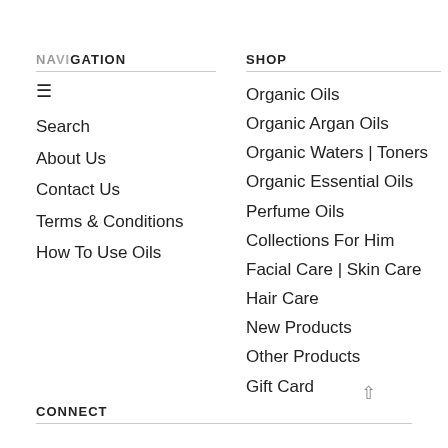NAVIGATION
SHOP
Search
About Us
Contact Us
Terms & Conditions
How To Use Oils
Organic Oils
Organic Argan Oils
Organic Waters | Toners
Organic Essential Oils
Perfume Oils
Collections For Him
Facial Care | Skin Care
Hair Care
New Products
Other Products
Gift Card
CONNECT